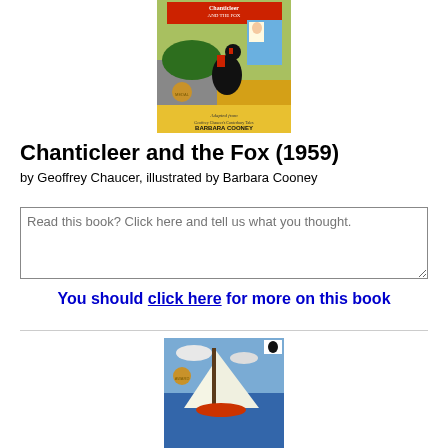[Figure (illustration): Book cover of Chanticleer and the Fox showing a rooster, fox, and medieval scene with text 'Chanticleer and the Fox' and 'Barbara Cooney']
Chanticleer and the Fox (1959)
by Geoffrey Chaucer, illustrated by Barbara Cooney
Read this book? Click here and tell us what you thought.
You should click here for more on this book
[Figure (illustration): Book cover showing a sailboat on water with a Caldecott medal]